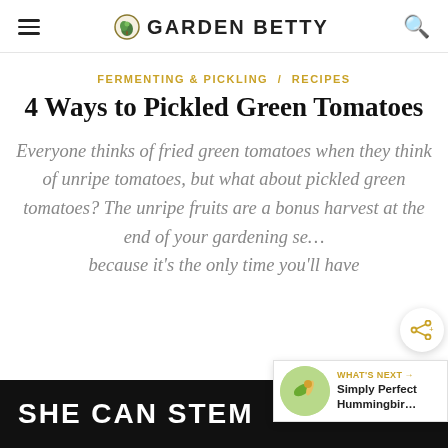GARDEN BETTY
FERMENTING & PICKLING / RECIPES
4 Ways to Pickled Green Tomatoes
Everyone thinks of fried green tomatoes when they think of unripe tomatoes, but what about pickled green tomatoes? The unripe fruits are a bonus harvest at the end of your gardening se... because it's the only time you'll have
[Figure (other): SHE CAN STEM advertisement banner at the bottom of the page]
[Figure (other): What's Next widget showing Simply Perfect Hummingbir... with a circular thumbnail image of a hummingbird]